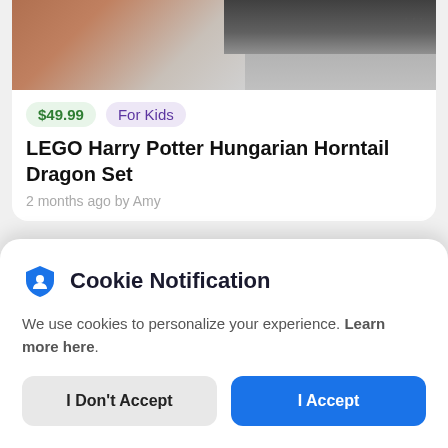[Figure (screenshot): Top portion of product listing card showing a hand and dark object on a surface]
$49.99
For Kids
LEGO Harry Potter Hungarian Horntail Dragon Set
2 months ago by Amy
[Figure (screenshot): Partial second listing card with dark background and circular icon]
Cookie Notification
We use cookies to personalize your experience. Learn more here.
I Don't Accept
I Accept